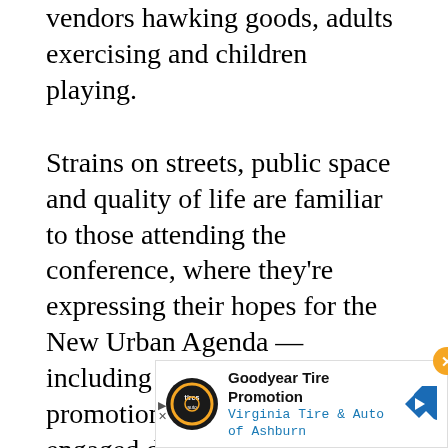vendors hawking goods, adults exercising and children playing.
Strains on streets, public space and quality of life are familiar to those attending the conference, where they’re expressing their hopes for the New Urban Agenda — including calls for the promotion of community-engaged design, for a focus on how cities will pay for the ambitious vision, and for creating effective land use policy. Attendees are also zeroing in on the need for the 24-page document to move from words to action. Watch Next City’s Monday “Quito Dispatch” below to hear more about the role of municipal government, urban designers, planners and more going forward with imple
[Figure (other): Advertisement banner for Goodyear Tire Promotion by Virginia Tire & Auto of Ashburn, with a close button (orange X), a circular logo, and a blue navigation arrow icon.]